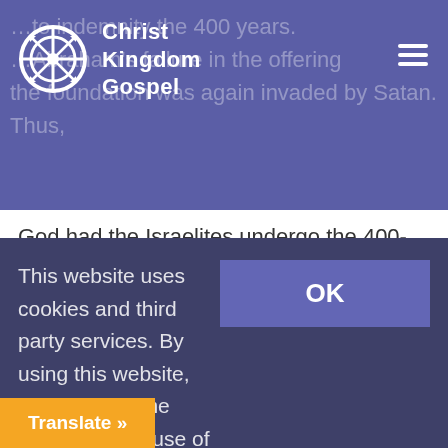Christ Kingdom Gospel
God had the Israelites undergo the 400-year slavery in Egypt for the separation from Satan again, in order to restore the 400-year foundation invaded by Satan (Gen. 15:13). This period we call the “period of slavery in Egypt” (cf. Part II, Ch. 1, Sec. III-1, 262). This period was that in which to restore...
This website uses cookies and third party services. By using this website, you agree to the collection and use of information in accordance with our
OK
Translate »